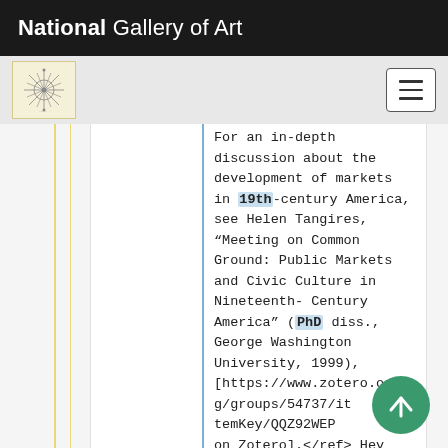National Gallery of Art
[Figure (logo): Art history starburst/compass rose logo on cream background]
[Figure (other): Hamburger menu icon button]
For an in-depth discussion about the development of markets in 19th-century America, see Helen Tangires, “Meeting on Common Ground: Public Markets and Civic Culture in Nineteenth-Century America” (PhD diss., George Washington University, 1999), [https://www.zotero.org/groups/54737/itemKey/QQZ92WEP on Zotero].</ref> They were not only in
[Figure (other): Green circular scroll-to-top arrow button]